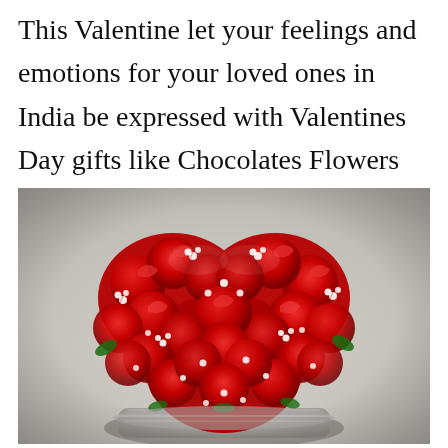This Valentine let your feelings and emotions for your loved ones in India be expressed with Valentines Day gifts like Chocolates Flowers and more.
[Figure (photo): A heart-shaped arrangement of red roses and white baby's breath flowers in a decorative basket, photographed from above against a light background.]